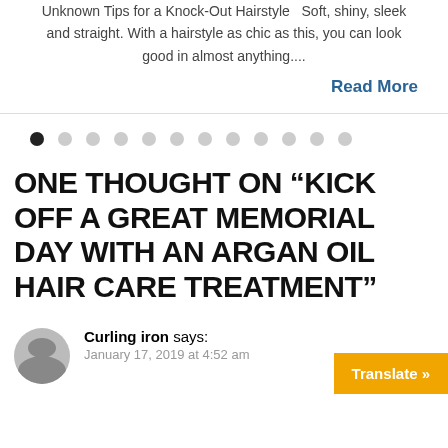Unknown Tips for a Knock-Out Hairstyle   Soft, shiny, sleek and straight. With a hairstyle as chic as this, you can look good in almost anything....
Read More
[Figure (other): Carousel navigation dots — one filled black dot followed by eleven grey dots]
ONE THOUGHT ON “KICK OFF A GREAT MEMORIAL DAY WITH AN ARGAN OIL HAIR CARE TREATMENT”
Curling iron says:
January 17, 2019 at 4:52 am
Translate »